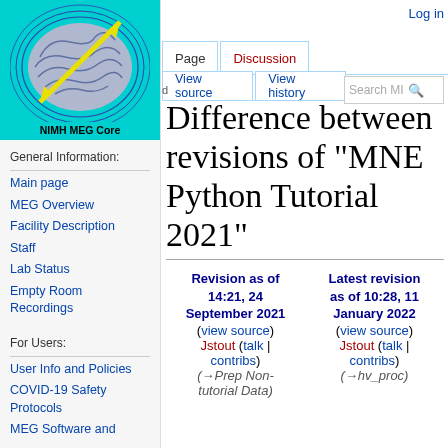Log in
[Figure (logo): NIMH MEG Core logo on cyan background showing brain with magnetic field lines and an arrow]
General Information:
Main page
MEG Overview
Facility Description
Staff
Lab Status
Empty Room Recordings
For Users:
User Info and Policies
COVID-19 Safety Protocols
MEG Software and
Difference between revisions of "MNE Python Tutorial 2021"
| Revision as of 14:21, 24 September 2021 | Latest revision as of 10:28, 11 January 2022 |
| --- | --- |
| (view source) | (view source) |
| Jstout (talk | contribs) | Jstout (talk | contribs) |
| (→Prep Non-tutorial Data) | (→hv_proc) |